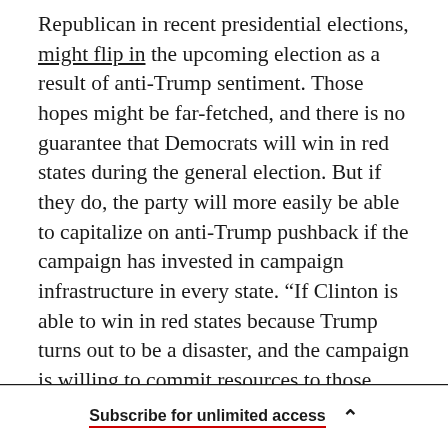Republican in recent presidential elections, might flip in the upcoming election as a result of anti-Trump sentiment. Those hopes might be far-fetched, and there is no guarantee that Democrats will win in red states during the general election. But if they do, the party will more easily be able to capitalize on anti-Trump pushback if the campaign has invested in campaign infrastructure in every state. “If Clinton is able to win in red states because Trump turns out to be a disaster, and the campaign is willing to commit resources to those states to build up party infrastructure, that could accelerate party-building,” Galvin said
Subscribe for unlimited access